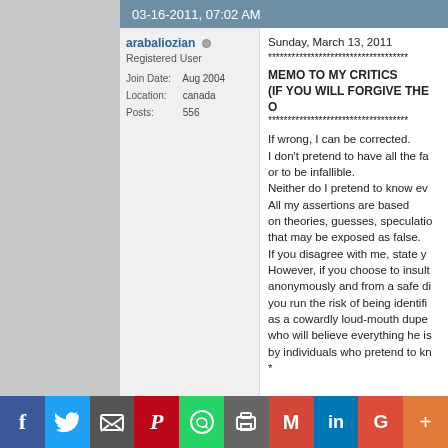03-16-2011, 07:02 AM
arabaliozian
Registered User
Join Date: Aug 2004
Location: canada
Posts: 556
Sunday, March 13, 2011
************************************
MEMO TO MY CRITICS
(IF YOU WILL FORGIVE THE O
************************************
If wrong, I can be corrected.
I don't pretend to have all the fa
or to be infallible.
Neither do I pretend to know ev
All my assertions are based
on theories, guesses, speculatio
that may be exposed as false.
If you disagree with me, state y
However, if you choose to insult
anonymously and from a safe di
you run the risk of being identifi
as a cowardly loud-mouth dupe
who will believe everything he is
by individuals who pretend to kn
*
I am willing to concede that
if I had all the facts and knew ev
I would probably think otherwise
If, on the other hand, you think y
f  Twitter  Email  Pinterest  WhatsApp  Print  Gmail  LinkedIn  Google+  More